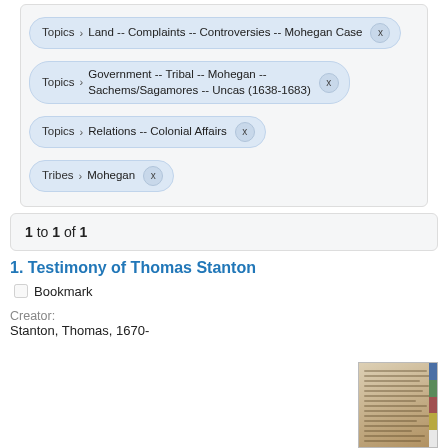Topics > Land -- Complaints -- Controversies -- Mohegan Case  x
Topics > Government -- Tribal -- Mohegan -- Sachems/Sagamores -- Uncas (1638-1683)  x
Topics > Relations -- Colonial Affairs  x
Tribes > Mohegan  x
1 to 1 of 1
1. Testimony of Thomas Stanton
Bookmark
Creator:
Stanton, Thomas, 1670-
[Figure (photo): Thumbnail photograph of a historical handwritten document on aged paper with color swatches on the right side]